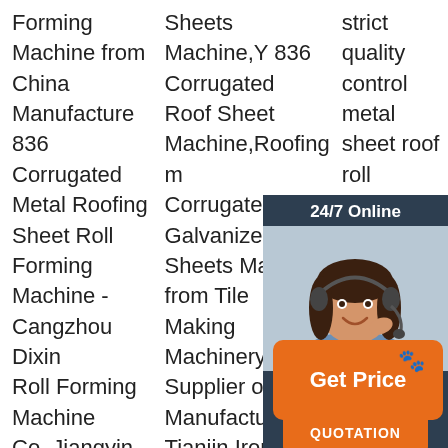Forming Machine from China Manufacture 836 Corrugated Metal Roofing Sheet Roll Forming Machine - Cangzhou Dixin Roll Forming Machine Co.,Jiangyin Bosj Science And Technology COJiangyin Bosj Science
Sheets Machine,Y 836 Corrugated Roof Sheet Machine,Roofing m Corrugated Galvanized Sheets Machine from Tile Making Machinery Supplier or Manufacturer- Tianjin Ironstar Industry Co.,Jiangyin Bosj Science
strict quality control metal sheet roof roll fo fa p q sh fo m p
[Figure (infographic): 24/7 Online customer service widget with photo of woman with headset, 'Click here for free chat!' text and orange QUOTATION button]
[Figure (infographic): Orange 'Get Price' button with paw print icon]